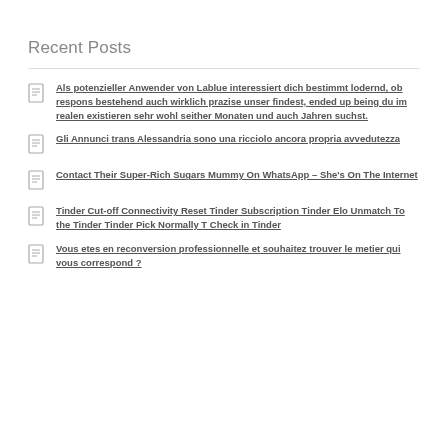Recent Posts
Als potenzieller Anwender von Lablue interessiert dich bestimmt lodernd, ob respons bestehend auch wirklich prazise unser findest, ended up being du im realen existieren sehr wohl seither Monaten und auch Jahren suchst.
Gli Annunci trans Alessandria sono una ricciolo ancora propria avvedutezza
Contact Their Super-Rich Sugars Mummy On WhatsApp – She's On The Internet
Tinder Cut-off Connectivity Reset Tinder Subscription Tinder Elo Unmatch To the Tinder Tinder Pick Normally T Check in Tinder
Vous etes en reconversion professionnelle et souhaitez trouver le metier qui vous correspond ?